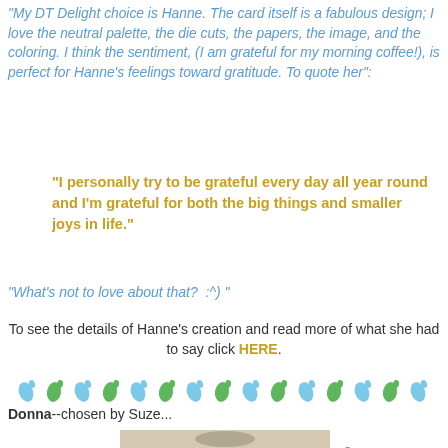"My DT Delight choice is Hanne. The card itself is a fabulous design; I love the neutral palette, the die cuts, the papers, the image, and the coloring. I think the sentiment, (I am grateful for my morning coffee!), is perfect for Hanne's feelings toward gratitude. To quote her":
"I personally try to be grateful every day all year round and I'm grateful for both the big things and smaller joys in life."
"What's not to love about that?  :^) "
To see the details of Hanne's creation and read more of what she had to say click HERE.
[Figure (illustration): Row of alternating blue and green footprint icons as a decorative divider]
Donna--chosen by Suze...
[Figure (illustration): DT Delight Suze's Pick badge with green and blue footprints decorative graphic and script text reading 'DT Delight SUZES PICK']
[Figure (photo): Partial photo of a card at the bottom of the page]